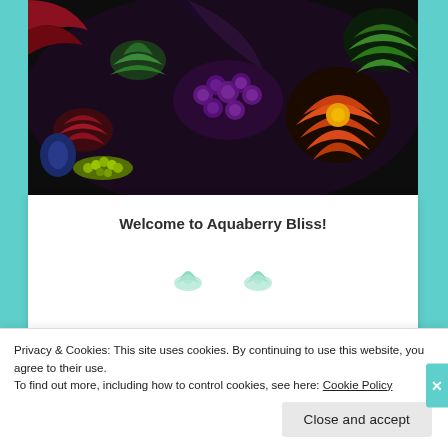[Figure (photo): Close-up photograph of colorful succulent plants with deep purple, green, red, orange, and yellow hues on a dark background.]
Welcome to Aquaberry Bliss!
[Figure (illustration): Decorative mint-green succulent/clover icons used as ornamental dividers below the welcome heading.]
Privacy & Cookies: This site uses cookies. By continuing to use this website, you agree to their use.
To find out more, including how to control cookies, see here: Cookie Policy
Close and accept